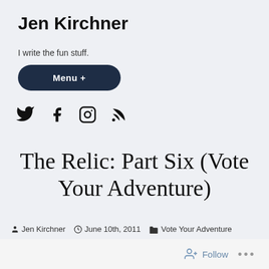Jen Kirchner
I write the fun stuff.
Menu +
[Figure (other): Social media icons: Twitter, Facebook, Instagram, RSS feed]
The Relic: Part Six (Vote Your Adventure)
Jen Kirchner  June 10th, 2011  Vote Your Adventure
[Figure (photo): Partial thumbnail image of dark wooden debris or ruins]
Follow  ...